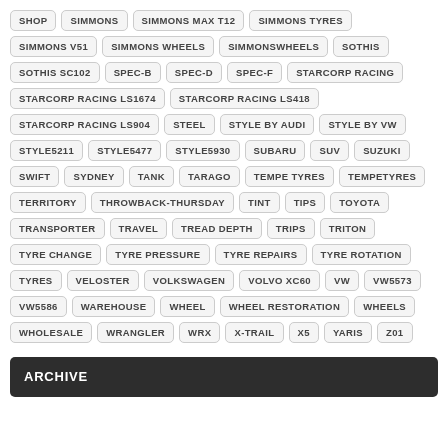SHOP
SIMMONS
SIMMONS MAX T12
SIMMONS TYRES
SIMMONS V51
SIMMONS WHEELS
SIMMONSWHEELS
SOTHIS
SOTHIS SC102
SPEC-B
SPEC-D
SPEC-F
STARCORP RACING
STARCORP RACING LS1674
STARCORP RACING LS418
STARCORP RACING LS904
STEEL
STYLE BY AUDI
STYLE BY VW
STYLE5211
STYLE5477
STYLE5930
SUBARU
SUV
SUZUKI
SWIFT
SYDNEY
TANK
TARAGO
TEMPE TYRES
TEMPETYRES
TERRITORY
THROWBACK-THURSDAY
TINT
TIPS
TOYOTA
TRANSPORTER
TRAVEL
TREAD DEPTH
TRIPS
TRITON
TYRE CHANGE
TYRE PRESSURE
TYRE REPAIRS
TYRE ROTATION
TYRES
VELOSTER
VOLKSWAGEN
VOLVO XC60
VW
VW5573
VW5586
WAREHOUSE
WHEEL
WHEEL RESTORATION
WHEELS
WHOLESALE
WRANGLER
WRX
X-TRAIL
X5
YARIS
Z01
ARCHIVE